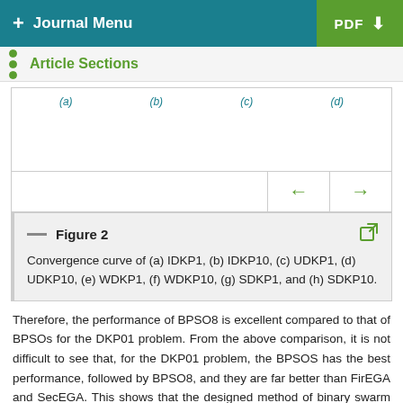+ Journal Menu   PDF
Article Sections
(a)   (b)   (c)   (d)
Figure 2
Convergence curve of (a) IDKP1, (b) IDKP10, (c) UDKP1, (d) UDKP10, (e) WDKP1, (f) WDKP10, (g) SDKP1, and (h) SDKP10.
Therefore, the performance of BPSO8 is excellent compared to that of BPSOs for the DKP01 problem. From the above comparison, it is not difficult to see that, for the DKP01 problem, the BPSOS has the best performance, followed by BPSO8, and they are far better than FirEGA and SecEGA. This shows that the designed method of binary swarm optimization with a new